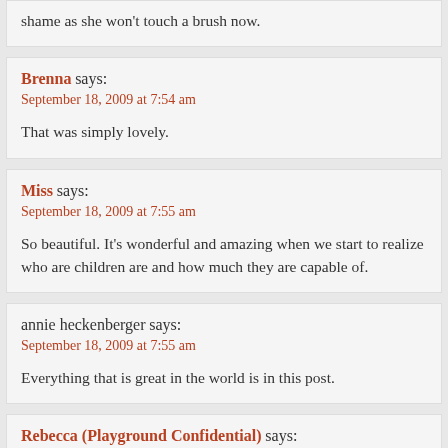shame as she won't touch a brush now.
Brenna says:
September 18, 2009 at 7:54 am
That was simply lovely.
Miss says:
September 18, 2009 at 7:55 am
So beautiful. It's wonderful and amazing when we start to realize who are children are and how much they are capable of.
annie heckenberger says:
September 18, 2009 at 7:55 am
Everything that is great in the world is in this post.
Rebecca (Playground Confidential) says: